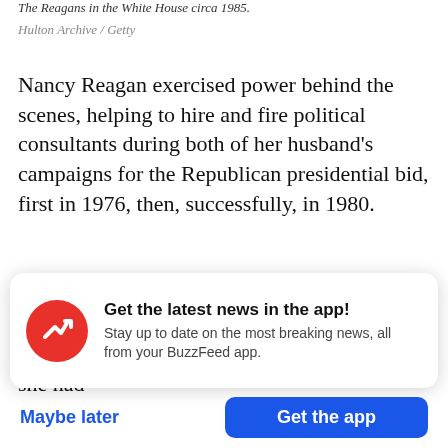The Reagans in the White House circa 1985.
Hulton Archive / Getty
Nancy Reagan exercised power behind the scenes, helping to hire and fire political consultants during both of her husband's campaigns for the Republican presidential bid, first in 1976, then, successfully, in 1980.
Publicly, she pointedly portrayed herself as a chic first lady and devoted wife, often saying she had
[Figure (infographic): BuzzFeed app notification banner with red circular logo featuring white trending arrow, title 'Get the latest news in the app!', subtitle 'Stay up to date on the most breaking news, all from your BuzzFeed app.' with 'Maybe later' and 'Get the app' buttons.]